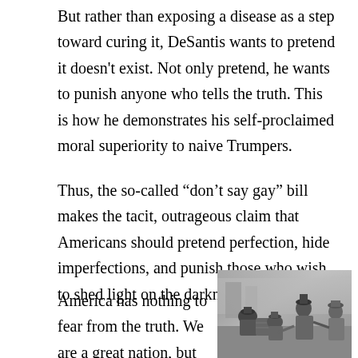But rather than exposing a disease as a step toward curing it, DeSantis wants to pretend it doesn't exist. Not only pretend, he wants to punish anyone who tells the truth. This is how he demonstrates his self-proclaimed moral superiority to naive Trumpers.
Thus, the so-called “don’t say gay” bill makes the tacit, outrageous claim that Americans should pretend perfection, hide imperfections, and punish those who wish to shed light on the darkness.
America has nothing to fear from the truth. We are a great nation, but we
[Figure (photo): A black and white historical photograph showing several men in early 20th century attire, some wearing straw boater hats. Men appear to be gathered outdoors near a building, with one appearing to pour something from a barrel.]